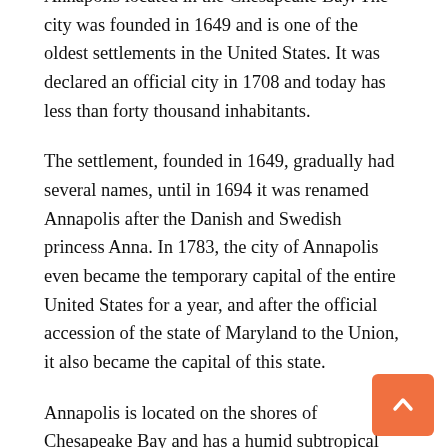Annapolis located in the Chesapeake Bay. The city was founded in 1649 and is one of the oldest settlements in the United States. It was declared an official city in 1708 and today has less than forty thousand inhabitants.
The settlement, founded in 1649, gradually had several names, until in 1694 it was renamed Annapolis after the Danish and Swedish princess Anna. In 1783, the city of Annapolis even became the temporary capital of the entire United States for a year, and after the official accession of the state of Maryland to the Union, it also became the capital of this state.
Annapolis is located on the shores of Chesapeake Bay and has a humid subtropical climate, which brings very hot and humid summers with the highest average temperatures of 30 degrees Celsius and relatively mild